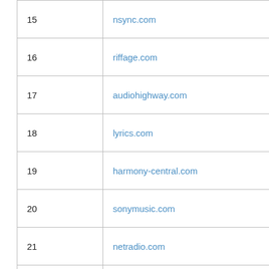| # | Domain |
| --- | --- |
| 15 | nsync.com |
| 16 | riffage.com |
| 17 | audiohighway.com |
| 18 | lyrics.com |
| 19 | harmony-central.com |
| 20 | sonymusic.com |
| 21 | netradio.com |
| 22 | korn.com |
| 23 | emusic.com |
| 24 | musicmatch.com |
| 25 | discjockey.com |